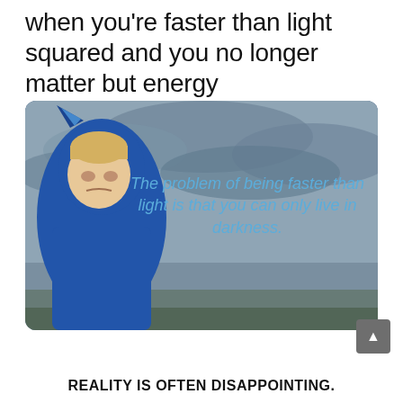when you're faster than light squared and you no longer matter but energy
[Figure (photo): A person dressed in a blue Sonic the Hedgehog costume with cat-like ears, with an overlaid text reading 'The problem of being faster than light is that you can only live in darkness.' shown against a cloudy sky background.]
REALITY IS OFTEN DISAPPOINTING.